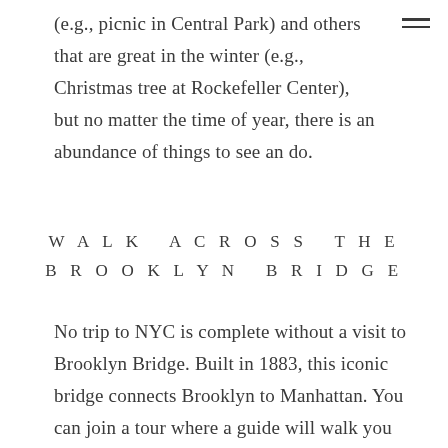(e.g., picnic in Central Park) and others that are great in the winter (e.g., Christmas tree at Rockefeller Center), but no matter the time of year, there is an abundance of things to see an do.
WALK ACROSS THE BROOKLYN BRIDGE
No trip to NYC is complete without a visit to Brooklyn Bridge. Built in 1883, this iconic bridge connects Brooklyn to Manhattan. You can join a tour where a guide will walk you across and point out various points of interest and the bridge's history, or you can simply walk